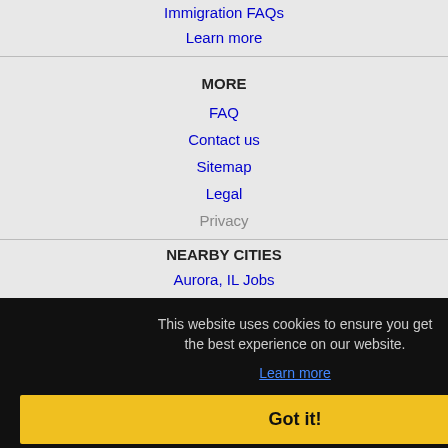Immigration FAQs
Learn more
MORE
FAQ
Contact us
Sitemap
Legal
Privacy
NEARBY CITIES
Aurora, IL Jobs
Bartlett, IL Jobs
Benyon, IL Jobs
Bolingbrook, IL Jobs
Buffalo Grove, IL Jobs
This website uses cookies to ensure you get the best experience on our website.
Learn more
Got it!